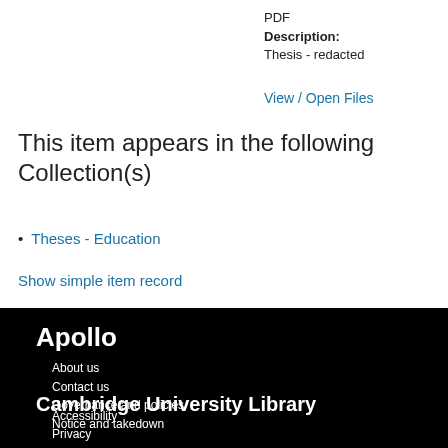PDF
Description: Thesis - redacted
View / Open Files
This item appears in the following Collection(s)
Theses - Education
Show simple item record
Apollo
About us
Contact us
Governance and policies
Notice and takedown
Cambridge University Library
Accessibility
Privacy